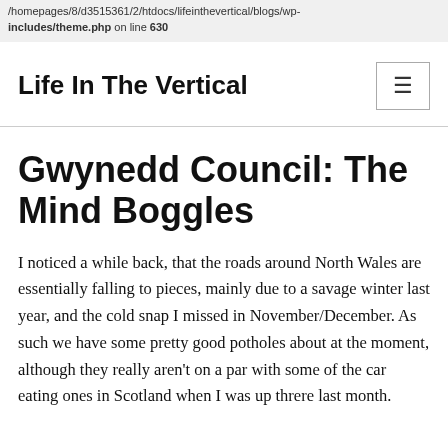/homepages/8/d3515361/2/htdocs/lifeinthevertical/blogs/wp-includes/theme.php on line 630
Life In The Vertical
Gwynedd Council: The Mind Boggles
I noticed a while back, that the roads around North Wales are essentially falling to pieces, mainly due to a savage winter last year, and the cold snap I missed in November/December. As such we have some pretty good potholes about at the moment, although they really aren't on a par with some of the car eating ones in Scotland when I was up threre last month.